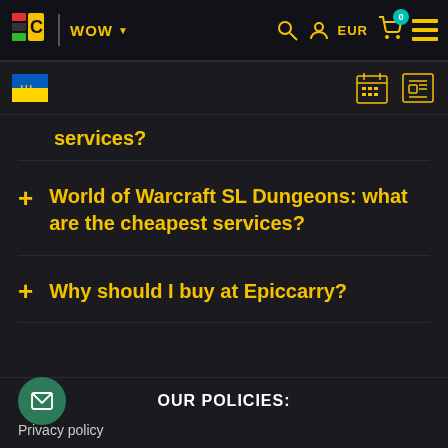[Figure (screenshot): Epiccarry website navigation bar with logo, WOW dropdown, search, user, EUR, cart (0) and menu icons in dark theme with yellow accents]
[Figure (screenshot): Sub-navigation bar with Ukraine flag icon on left and calendar/news icons on right]
services?
+ World of Warcraft SL Dungeons: what are the cheapest services?
+ Why should I buy at Epiccarry?
OUR POLICIES:
Privacy policy